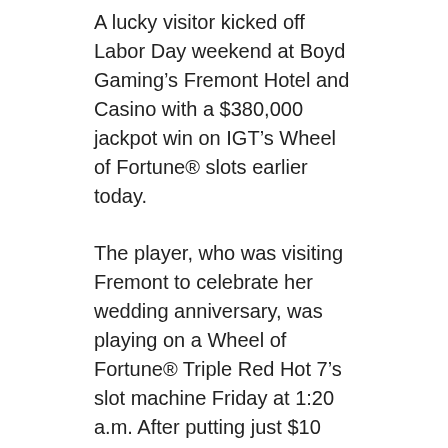A lucky visitor kicked off Labor Day weekend at Boyd Gaming’s Fremont Hotel and Casino with a $380,000 jackpot win on IGT’s Wheel of Fortune® slots earlier today.
The player, who was visiting Fremont to celebrate her wedding anniversary, was playing on a Wheel of Fortune® Triple Red Hot 7’s slot machine Friday at 1:20 a.m. After putting just $10 into the machine, the lucky winner scored a progressive jackpot of $382,311 on her third spin. The winner requested to remain anonymous.